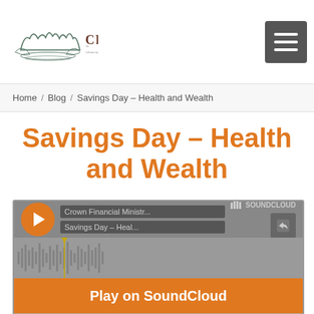Crown — Advancing God's Principles of Stewardship and Life
Home / Blog / Savings Day – Health and Wealth
Savings Day – Health and Wealth
[Figure (screenshot): SoundCloud embedded audio player for 'Savings Day – Health and Wealth' by Crown Financial Ministries, showing play button, track info, waveform, and 'Play on SoundCloud' button]